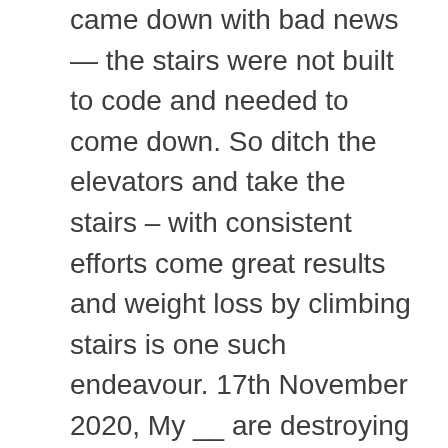came down with bad news — the stairs were not built to code and needed to come down. So ditch the elevators and take the stairs – with consistent efforts come great results and weight loss by climbing stairs is one such endeavour. 17th November 2020, My __ are destroying my house! Other small additions, like a few well-placed grab bars or a sturdy shower chair are an instant upgrade to the safety of your home. Your doctor can best advise you if you have special health problems that might limit or even prevent you from using stairs. Who Should Use A Quad Cane? You're right -- when I'm traveling in other countries, I've seen lots of unguarded stairs, stairs without handrails, and stairs with